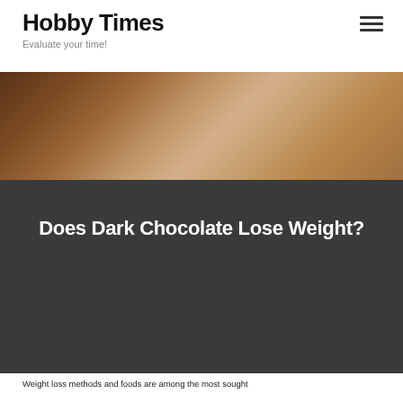Hobby Times
Evaluate your time!
[Figure (photo): Close-up photo of dark chocolate and coffee or caramel tones, warm brown hues]
Does Dark Chocolate Lose Weight?
Weight loss methods and foods are among the most sought